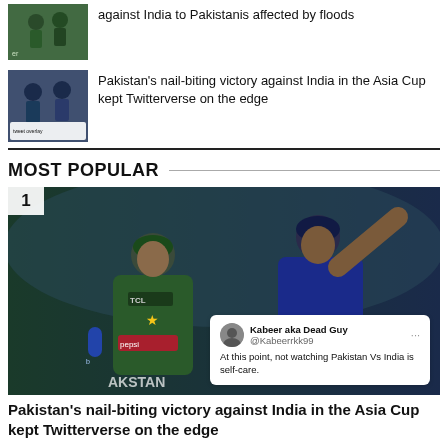[Figure (photo): Cricket players in green Pakistan uniforms]
against India to Pakistanis affected by floods
[Figure (photo): Cricket players and a tweet screenshot overlay]
Pakistan’s nail-biting victory against India in the Asia Cup kept Twitterverse on the edge
MOST POPULAR
[Figure (photo): Large photo of two cricket players — one in green Pakistan TCL kit with Pepsi branding, one in blue India uniform pointing up. Tweet overlay from Kabeer aka Dead Guy: 'At this point, not watching Pakistan Vs India is self-care.' Rank badge showing 1.]
Pakistan’s nail-biting victory against India in the Asia Cup kept Twitterverse on the edge